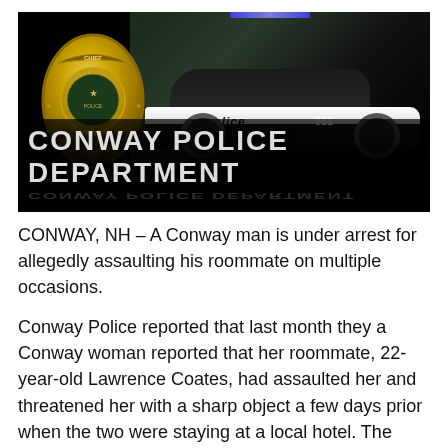[Figure (photo): Conway Police Department banner image with gold police badge on the left, a black-and-white police car on the right against a dark background, and 'CONWAY POLICE DEPARTMENT' text in large capital letters at the bottom with a reflection effect.]
CONWAY, NH – A Conway man is under arrest for allegedly assaulting his roommate on multiple occasions.
Conway Police reported that last month they a Conway woman reported that her roommate, 22-year-old Lawrence Coates, had assaulted her and threatened her with a sharp object a few days prior when the two were staying at a local hotel. The victim also stated that a Conway male also assaulted her